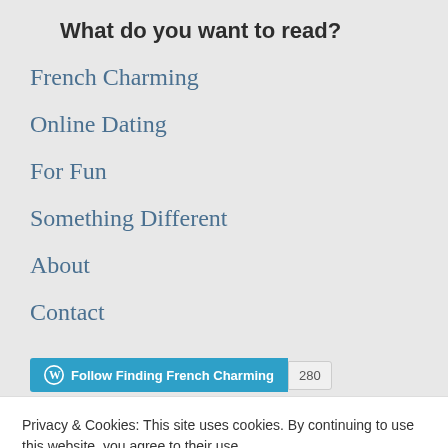What do you want to read?
French Charming
Online Dating
For Fun
Something Different
About
Contact
Follow Finding French Charming 280
Privacy & Cookies: This site uses cookies. By continuing to use this website, you agree to their use.
To find out more, including how to control cookies, see here:
Cookie Policy
Close and accept